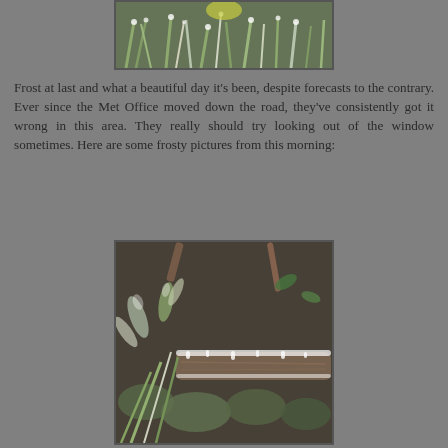[Figure (photo): Close-up photograph of frost-covered grass and plants, green blades with white frost, top portion visible]
Frost at last and what a beautiful day it's been, despite forecasts to the contrary. Ever since the Met Office moved down the road, they've consistently got it wrong in this area. They really should try looking out of the window sometimes. Here are some frosty pictures from this morning:
[Figure (photo): Close-up photograph of frost-covered plants, moss, and a branch/twig covered in white frost crystals, brown and green vegetation visible]